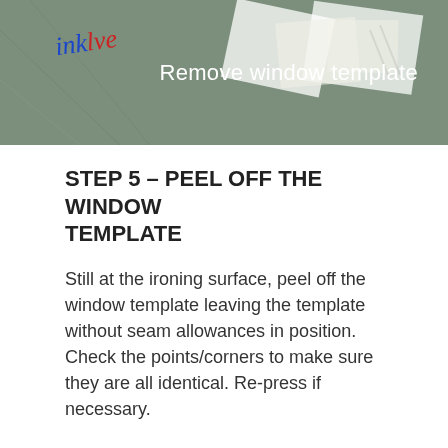[Figure (photo): Photo banner showing hands peeling a window template off fabric/surface, with an inkline logo watermark and caption 'Remove window template' overlaid in white text on the right side.]
STEP 5 – PEEL OFF THE WINDOW TEMPLATE
Still at the ironing surface, peel off the window template leaving the template without seam allowances in position. Check the points/corners to make sure they are all identical. Re-press if necessary.
This template won't move while I cut! Perfect!